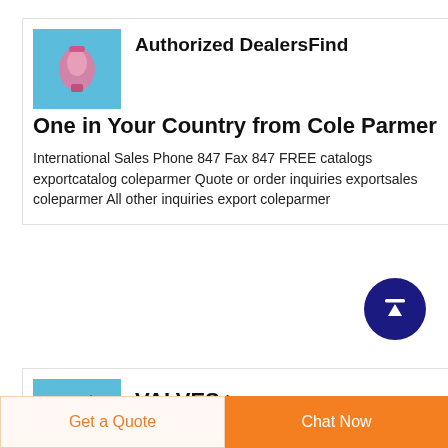[Figure (other): Card with pink clip image and text about Authorized Dealers]
Authorized DealersFind One in Your Country from Cole Parmer
International Sales Phone 847 Fax 847 FREE catalogs exportcatalog coleparmer Quote or order inquiries exportsales coleparmer All other inquiries export coleparmer
[Figure (other): Scroll to top button - dark blue circle with upward arrow]
[Figure (other): Card with valves image and VALVES > PRODUCTS > text]
Get a Quote
Chat Now